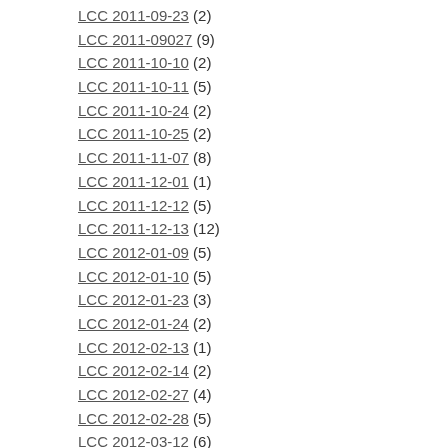LCC 2011-09-23 (2)
LCC 2011-09027 (9)
LCC 2011-10-10 (2)
LCC 2011-10-11 (5)
LCC 2011-10-24 (2)
LCC 2011-10-25 (2)
LCC 2011-11-07 (8)
LCC 2011-12-01 (1)
LCC 2011-12-12 (5)
LCC 2011-12-13 (12)
LCC 2012-01-09 (5)
LCC 2012-01-10 (5)
LCC 2012-01-23 (3)
LCC 2012-01-24 (2)
LCC 2012-02-13 (1)
LCC 2012-02-14 (2)
LCC 2012-02-27 (4)
LCC 2012-02-28 (5)
LCC 2012-03-12 (6)